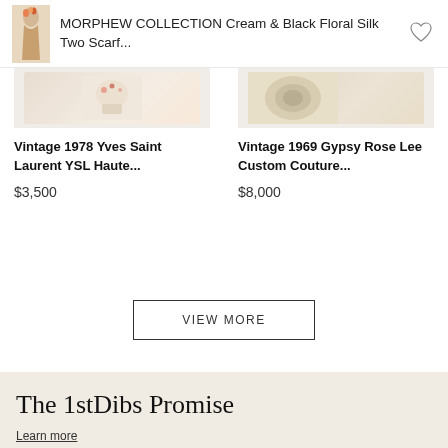MORPHEW COLLECTION Cream & Black Floral Silk Two Scarf...
Vintage 1978 Yves Saint Laurent YSL Haute...
$3,500
Vintage 1969 Gypsy Rose Lee Custom Couture...
$8,000
VIEW MORE
The 1stDibs Promise
Learn more
Expertly Vetted Sellers
Price-Match Guarantee